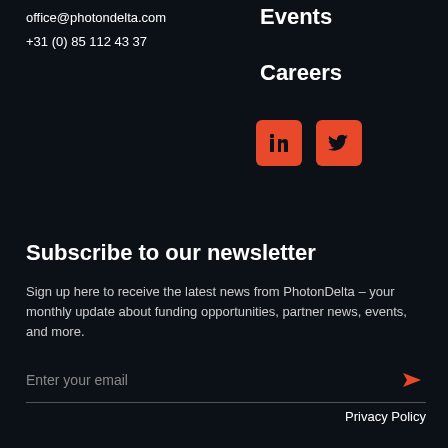office@photondelta.com
+31 (0) 85 112 43 37
Events
Careers
[Figure (logo): LinkedIn and Twitter social media icons, orange/red rounded square background with white icons]
Subscribe to our newsletter
Sign up here to receive the latest news from PhotonDelta – your monthly update about funding opportunities, partner news, events, and more.
Enter your email
Privacy Policy